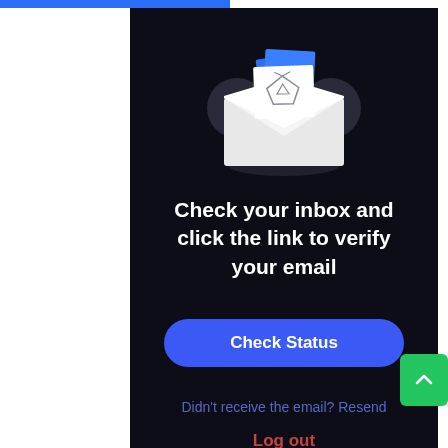[Figure (screenshot): Email verification screen with envelope illustration containing a fox/GitLab logo icon]
Check your inbox and click the link to verify your email
Check Status
Didn't receive the email? Resend
Log out